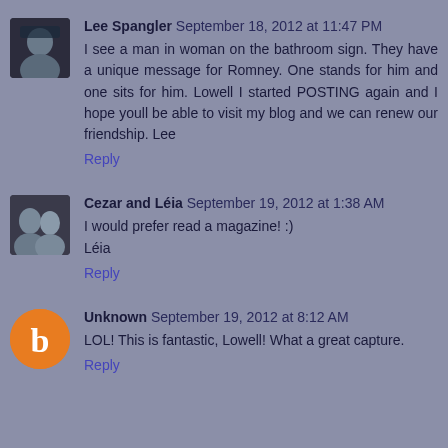Lee Spangler  September 18, 2012 at 11:47 PM
I see a man in woman on the bathroom sign. They have a unique message for Romney. One stands for him and one sits for him. Lowell I started POSTING again and I hope youll be able to visit my blog and we can renew our friendship. Lee
Reply
Cezar and Léia  September 19, 2012 at 1:38 AM
I would prefer read a magazine! :)
Léia
Reply
Unknown  September 19, 2012 at 8:12 AM
LOL! This is fantastic, Lowell! What a great capture.
Reply